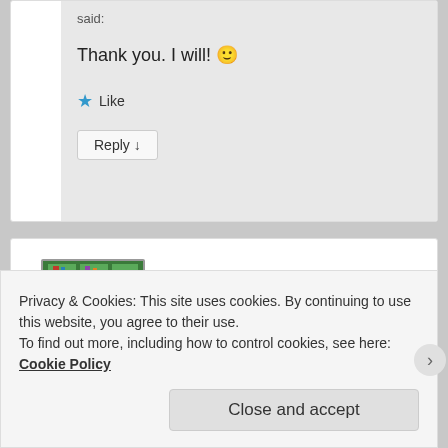said:
Thank you. I will! 🙂
★ Like
Reply ↓
[Figure (illustration): Cartoon avatar of a person wearing a pink jacket standing in a room with shelves]
Privacy & Cookies: This site uses cookies. By continuing to use this website, you agree to their use.
To find out more, including how to control cookies, see here: Cookie Policy
Close and accept